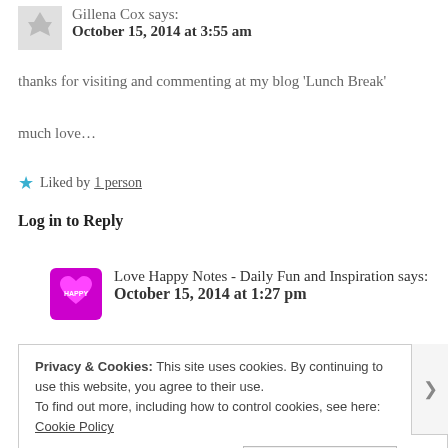Gillena Cox says:
October 15, 2014 at 3:55 am
thanks for visiting and commenting at my blog 'Lunch Break'
much love…
★ Liked by 1 person
Log in to Reply
Love Happy Notes - Daily Fun and Inspiration says:
October 15, 2014 at 1:27 pm
Privacy & Cookies: This site uses cookies. By continuing to use this website, you agree to their use.
To find out more, including how to control cookies, see here: Cookie Policy
Close and accept